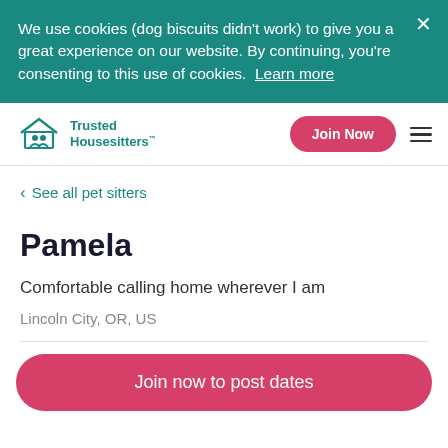We use cookies (dog biscuits didn't work) to give you a great experience on our website. By continuing, you're consenting to this use of cookies. Learn more
[Figure (logo): Trusted Housesitters logo with teal house and people icon]
Join Now
See all pet sitters
Pamela
Comfortable calling home wherever I am
Lincoln City, OR, US
Join now to post dates